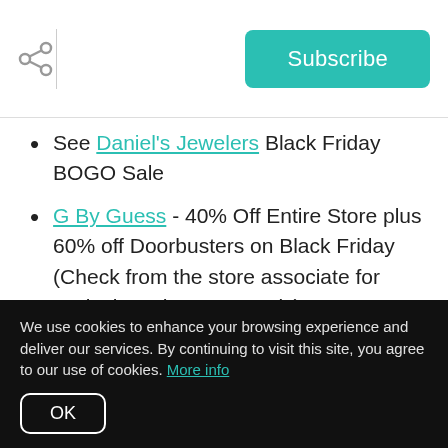Subscribe
See Daniel's Jewelers Black Friday BOGO Sale
G By Guess - 40% Off Entire Store plus 60% off Doorbusters on Black Friday (Check from the store associate for exclusions that may apply)
GNC - Buy 2, get 1 free.
Click for more details >>
We use cookies to enhance your browsing experience and deliver our services. By continuing to visit this site, you agree to our use of cookies. More info